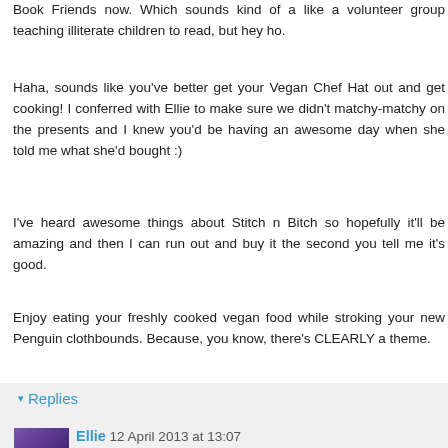Book Friends now. Which sounds kind of a like a volunteer group teaching illiterate children to read, but hey ho.
Haha, sounds like you've better get your Vegan Chef Hat out and get cooking! I conferred with Ellie to make sure we didn't matchy-matchy on the presents and I knew you'd be having an awesome day when she told me what she'd bought :)
I've heard awesome things about Stitch n Bitch so hopefully it'll be amazing and then I can run out and buy it the second you tell me it's good.
Enjoy eating your freshly cooked vegan food while stroking your new Penguin clothbounds. Because, you know, there's CLEARLY a theme.
Reply
▾ Replies
Ellie 12 April 2013 at 13:07
I concur, and would ADD that once you've